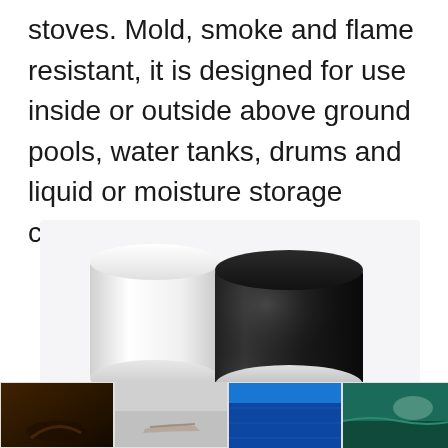stoves. Mold, smoke and flame resistant, it is designed for use inside or outside above ground pools, water tanks, drums and liquid or moisture storage containers.
[Figure (photo): Two cylindrical cans or containers — one white on the left and one black on the right — shown on a light gray background.]
[Figure (photo): Four small thumbnail images in a horizontal strip at the bottom: a dark surface being worked on, a hand smoothing a gray surface, a blue surface, and a teal/green pool or surface.]